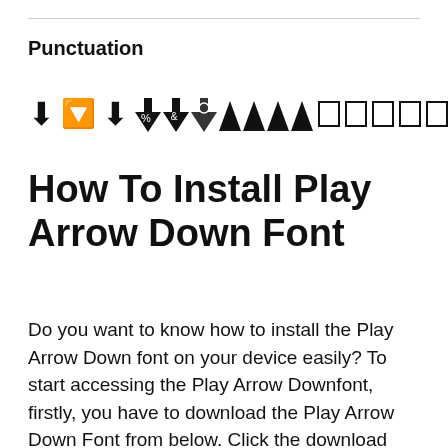Punctuation
[Figure (illustration): A row of decorative arrow and filled arrow symbols followed by four empty rectangle/box symbols, rendered in a dingbat/symbol font style.]
How To Install Play Arrow Down Font
Do you want to know how to install the Play Arrow Down font on your device easily? To start accessing the Play Arrow Downfont, firstly, you have to download the Play Arrow Down Font from below. Click the download link given here to download the Play Arrow